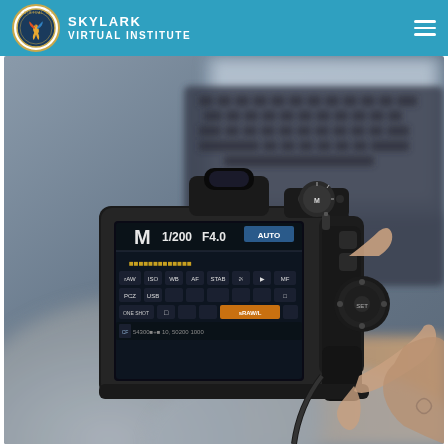SKYLARK VIRTUAL INSTITUTE
[Figure (photo): Person holding a DSLR camera showing the rear LCD screen with settings (M 1/200 F4.0 AUTO), with a laptop keyboard visible in the background]